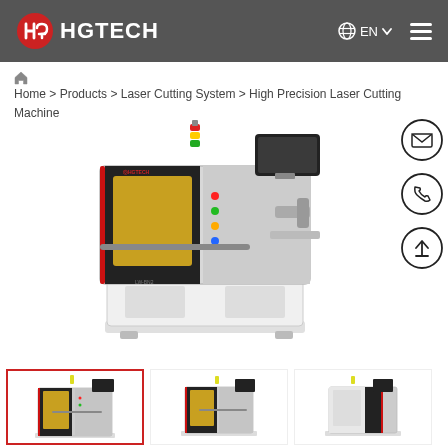[Figure (logo): HGTECH company logo with red gear-like icon and white text on dark gray header bar]
Home > Products > Laser Cutting System > High Precision Laser Cutting Machine
[Figure (photo): High Precision Laser Cutting Machine - main product photo showing a white and dark gray industrial laser cutting machine with red warning light on top, monitor screen, control panel with buttons, and robotic arm mechanism]
[Figure (photo): Thumbnail 1 (selected, red border): Same laser cutting machine from slightly different angle]
[Figure (photo): Thumbnail 2: Laser cutting machine front view with yellow window]
[Figure (photo): Thumbnail 3: Laser cutting machine side/angled view showing red accent]